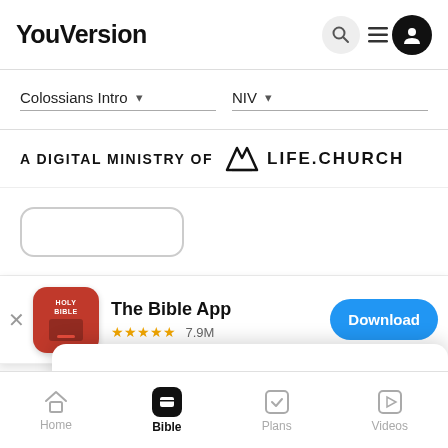YouVersion
Colossians Intro ▾   NIV ▾
[Figure (logo): A DIGITAL MINISTRY OF Life.Church logo]
[Figure (screenshot): The Bible App install banner with Holy Bible icon, 5 stars, 7.9M ratings, and Download button]
© 2022 Life.Church / YouVersion
Privacy Po...
YouVersion uses cookies to personalize your experience. By using our website, you accept our use of cookies as described in our Privacy Policy.
Home   Bible   Plans   Videos